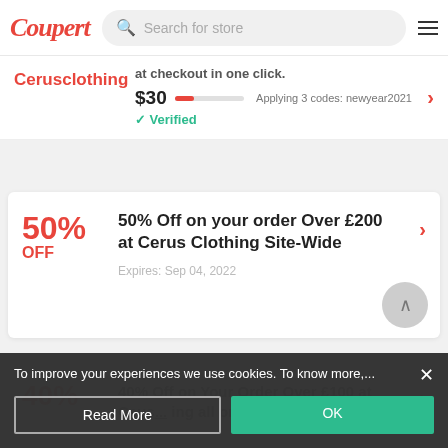Coupert — Search for store
Cerusclothing — at checkout in one click. $30 Applying 3 codes: newyear2021 ✓ Verified
50% OFF — 50% Off on your order Over £200 at Cerus Clothing Site-Wide. Expires: Sep 04, 2022
40% — 40% Off on Your Order Over £100 at Ceus ... ing all order
To improve your experiences we use cookies. To know more,... Read More | OK